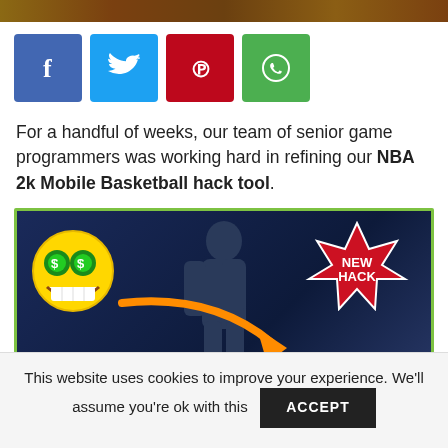[Figure (screenshot): Top banner image showing a stylized background graphic]
[Figure (infographic): Row of four social media share buttons: Facebook (blue), Twitter (cyan), Pinterest (red), WhatsApp (green)]
For a handful of weeks, our team of senior game programmers was working hard in refining our NBA 2k Mobile Basketball hack tool.
[Figure (infographic): Game promotional banner with green border showing basketball player, dollar-sign emoji face, 'NEW HACK' starburst, orange arrow, and '999K RESOURCES' text in gold]
This website uses cookies to improve your experience. We'll assume you're ok with this  ACCEPT